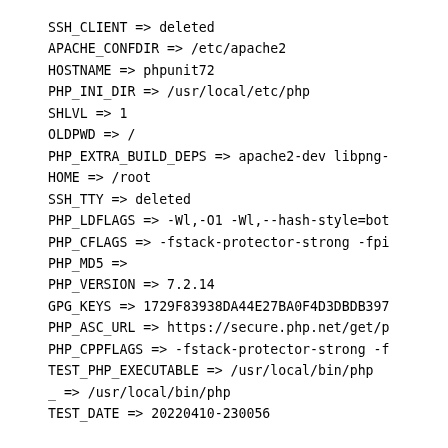SSH_CLIENT => deleted
APACHE_CONFDIR => /etc/apache2
HOSTNAME => phpunit72
PHP_INI_DIR => /usr/local/etc/php
SHLVL => 1
OLDPWD => /
PHP_EXTRA_BUILD_DEPS => apache2-dev libpng-
HOME => /root
SSH_TTY => deleted
PHP_LDFLAGS => -Wl,-O1 -Wl,--hash-style=bot
PHP_CFLAGS => -fstack-protector-strong -fpi
PHP_MD5 =>
PHP_VERSION => 7.2.14
GPG_KEYS => 1729F83938DA44E27BA0F4D3DBDB397
PHP_ASC_URL => https://secure.php.net/get/p
PHP_CPPFLAGS => -fstack-protector-strong -f
TEST_PHP_EXECUTABLE => /usr/local/bin/php
_ => /usr/local/bin/php
TEST_DATE => 20220410-230056